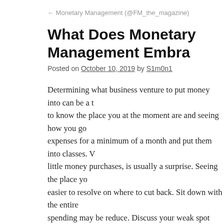← Monetary Management (@FM_the_magazine)
What Does Monetary Management Embra…
Posted on October 10, 2019 by S1m0n1
Determining what business venture to put money into can be a t… to know the place you at the moment are and seeing how you go… expenses for a minimum of a month and put them into classes. W… little money purchases, is usually a surprise. Seeing the place yo… easier to resolve on where to cut back. Sit down with the entire … spending may be reduce. Discuss your weak spot shopping for, … newest toys. Be honest. This is not a time for accusation, it is a t… future happiness. Set a funds and see the way it goes for a mont… No person will get it right the first time. You'll probably discove… simply as usually folks go overboard and funds too tight the firs… months. Take the time, it is value it both now and will certainly …
Strategic financial management is about creating revenue for the…